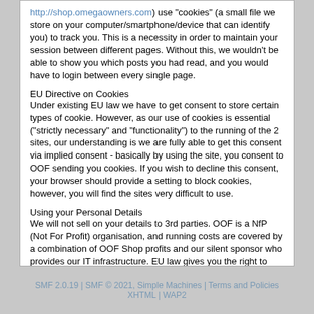http://shop.omegaowners.com) use "cookies" (a small file we store on your computer/smartphone/device that can identify you) to track you. This is a necessity in order to maintain your session between different pages. Without this, we wouldn't be able to show you which posts you had read, and you would have to login between every single page.
EU Directive on Cookies
Under existing EU law we have to get consent to store certain types of cookie.  However, as our use of cookies is essential ("strictly necessary" and "functionality") to the running of the 2 sites, our understanding is we are fully able to get this consent via implied consent - basically by using the site, you consent to OOF sending you cookies. If you wish to decline this consent, your browser should provide a setting to block cookies, however, you will find the sites very difficult to use.
Using your Personal Details
We will not sell on your details to 3rd parties.  OOF is a NfP (Not For Profit) organisation, and running costs are covered by a combination of OOF Shop profits and our silent sponsor who provides our IT infrastructure. EU law gives you the right to have your Personal Data destroyed when no longer needed (GDPR), and anyone wishing to accomplish this can do so by hitting the Delete Account button in their profile. This will not remove your Personal Details from our backups immediately, but the backups expire over time. Note, any forum Posts will remain, these are classed as Public Data not covered by EU laws, and as per our T&Cs, become the property of OOF once posted.
SMF 2.0.19 | SMF © 2021, Simple Machines | Terms and Policies
XHTML | WAP2